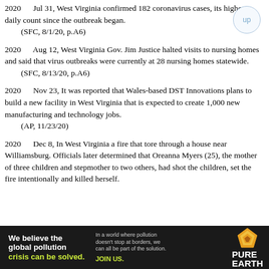2020 Jul 31, West Virginia confirmed 182 coronavirus cases, its highest daily count since the outbreak began.
(SFC, 8/1/20, p.A6)
2020 Aug 12, West Virginia Gov. Jim Justice halted visits to nursing homes and said that virus outbreaks were currently at 28 nursing homes statewide.
(SFC, 8/13/20, p.A6)
2020 Nov 23, It was reported that Wales-based DST Innovations plans to build a new facility in West Virginia that is expected to create 1,000 new manufacturing and technology jobs.
(AP, 11/23/20)
2020 Dec 8, In West Virginia a fire that tore through a house near Williamsburg. Officials later determined that Oreanna Myers (25), the mother of three children and stepmother to two others, had shot the children, set the fire intentionally and killed herself.
[Figure (other): Pure Earth advertisement banner: 'We believe the global pollution crisis can be solved. In a world where pollution doesn't stop at borders, we can all be part of the solution. JOIN US.' with Pure Earth diamond logo.]